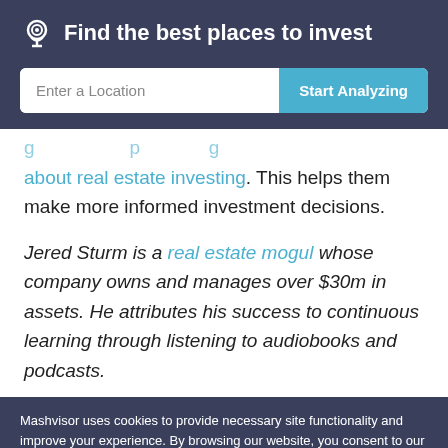Find the best places to invest
[Figure (screenshot): Search bar with 'Enter a Location' placeholder and 'Start Analyzing' button]
about real estate investing. This helps them make more informed investment decisions.
Jered Sturm is a real estate mogul whose company owns and manages over $30m in assets. He attributes his success to continuous learning through listening to audiobooks and podcasts.
Mashvisor uses cookies to provide necessary site functionality and improve your experience. By browsing our website, you consent to our use of cookies. To learn more please refer to our cookie policy